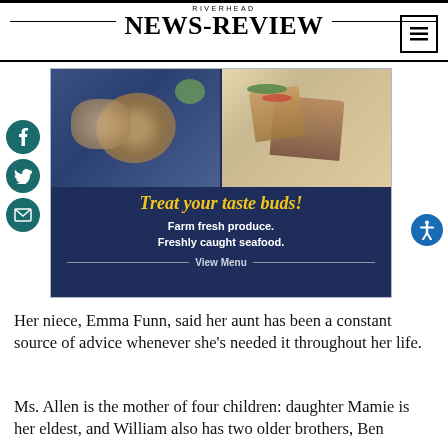RIVERHEAD NEWS-REVIEW
[Figure (photo): Advertisement for restaurant with food photos (seafood dish and tacos), text reading 'Treat your taste buds! Farm fresh produce. Freshly caught seafood. View Menu']
Her niece, Emma Funn, said her aunt has been a constant source of advice whenever she's needed it throughout her life.
Ms. Allen is the mother of four children: daughter Mamie is her eldest, and William also has two older brothers, Ben